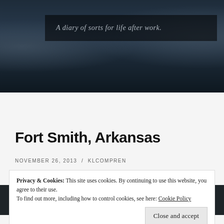[Figure (photo): Blog header with a dark photo of a river scene with bridges, overlaid with a semi-transparent dark box containing the blog subtitle text]
A diary of sorts for life after work.
[Figure (other): Dark navigation bar with hamburger menu icon on left and search magnifying glass icon on right]
Fort Smith, Arkansas
NOVEMBER 26, 2013 / KLCOMPREN
Privacy & Cookies: This site uses cookies. By continuing to use this website, you agree to their use.
To find out more, including how to control cookies, see here: Cookie Policy
Close and accept